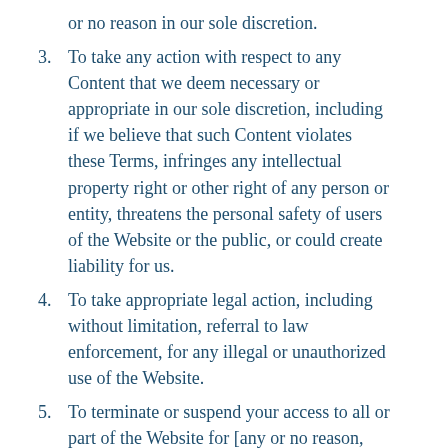or no reason in our sole discretion.
3. To take any action with respect to any Content that we deem necessary or appropriate in our sole discretion, including if we believe that such Content violates these Terms, infringes any intellectual property right or other right of any person or entity, threatens the personal safety of users of the Website or the public, or could create liability for us.
4. To take appropriate legal action, including without limitation, referral to law enforcement, for any illegal or unauthorized use of the Website.
5. To terminate or suspend your access to all or part of the Website for [any or no reason, including without limitation,] any violation of these Terms.